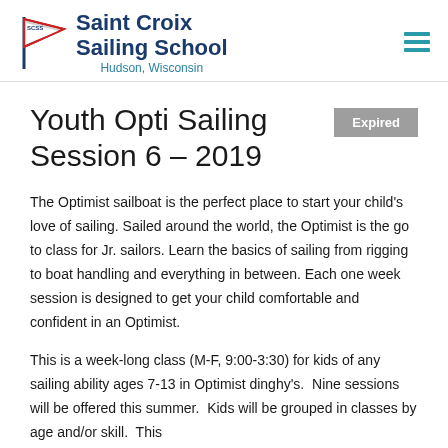Saint Croix Sailing School — Hudson, Wisconsin
Youth Opti Sailing Session 6 – 2019
Expired
The Optimist sailboat is the perfect place to start your child's love of sailing. Sailed around the world, the Optimist is the go to class for Jr. sailors. Learn the basics of sailing from rigging to boat handling and everything in between. Each one week session is designed to get your child comfortable and confident in an Optimist.
This is a week-long class (M-F, 9:00-3:30) for kids of any sailing ability ages 7-13 in Optimist dinghy's.  Nine sessions will be offered this summer.  Kids will be grouped in classes by age and/or skill.  This